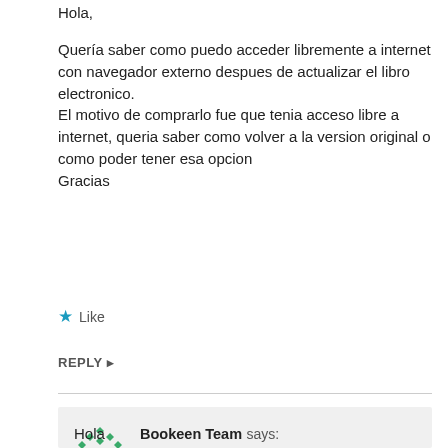Hola,
Quería saber como puedo acceder libremente a internet con navegador externo despues de actualizar el libro electronico.
El motivo de comprarlo fue que tenia acceso libre a internet, queria saber como volver a la version original o como poder tener esa opcion
Gracias
Like
REPLY ▸
Bookeen Team says:
7 July 2015 at 16 h 28 min
Hola